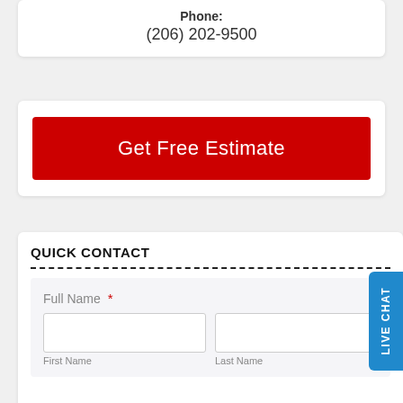Phone:
(206) 202-9500
Get Free Estimate
QUICK CONTACT
Full Name *
First Name
Last Name